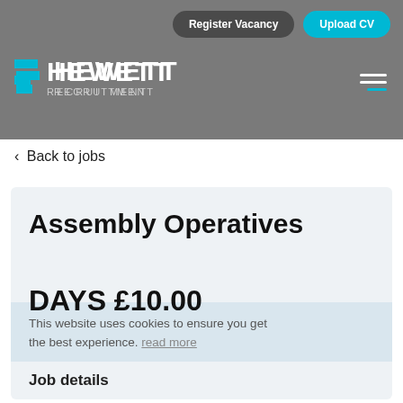Register Vacancy | Upload CV
[Figure (logo): Hewett Recruitment logo with cyan square brackets icon and white HEWETT text]
< Back to jobs
Assembly Operatives
DAYS £10.00
This website uses cookies to ensure you get the best experience. read more
Job details
| Posted | 22 June 2022 |
| --- | --- |
Got it!